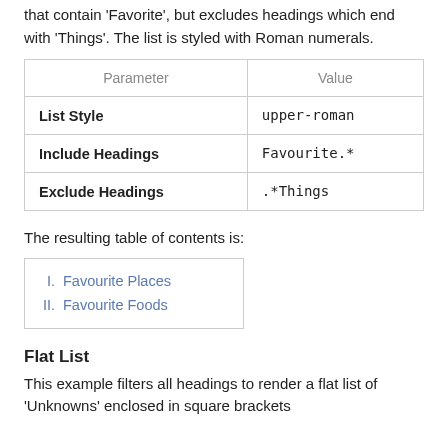that contain 'Favorite', but excludes headings which end with 'Things'. The list is styled with Roman numerals.
| Parameter | Value |
| --- | --- |
| List Style | upper-roman |
| Include Headings | Favourite.* |
| Exclude Headings | .*Things |
The resulting table of contents is:
I. Favourite Places
II. Favourite Foods
Flat List
This example filters all headings to render a flat list of 'Unknowns' enclosed in square brackets